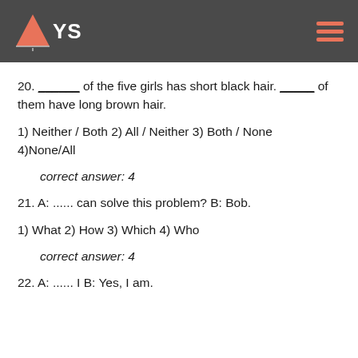AYS
20. ______ of the five girls has short black hair. _____ of them have long brown hair.
1) Neither / Both 2) All / Neither 3) Both / None 4)None/All
correct answer: 4
21. A: ...... can solve this problem? B: Bob.
1) What 2) How 3) Which 4) Who
correct answer: 4
22. A: ...... I B: Yes, I am.